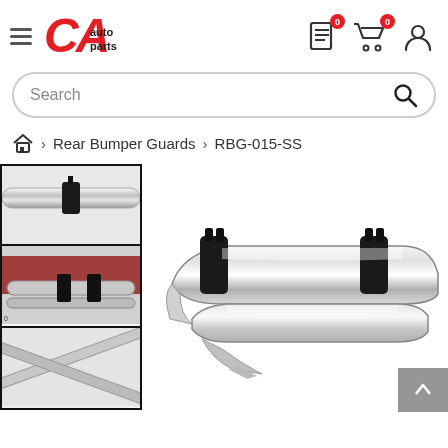[Figure (logo): CA Auto Parts logo with red stylized CA letters and black 'auto parts' text]
[Figure (screenshot): Navigation header with hamburger menu, CA Auto Parts logo, document icon with badge 0, shopping cart with badge 0, and user account icon]
[Figure (screenshot): Search bar with placeholder text 'Search' and magnifying glass icon]
Home > Rear Bumper Guards > RBG-015-SS
[Figure (photo): Thumbnail 1: Close-up of chrome rear bumper guard with black rubber clamp]
[Figure (photo): Thumbnail 2: Rear view of vehicle with chrome bumper guard installed]
[Figure (photo): Thumbnail 3: Chrome rear bumper guard - partial view]
[Figure (photo): Main product image: Large chrome stainless steel rear bumper guard (RBG-015-SS) with black rubber clamps, showing double-bar design with curved ends]